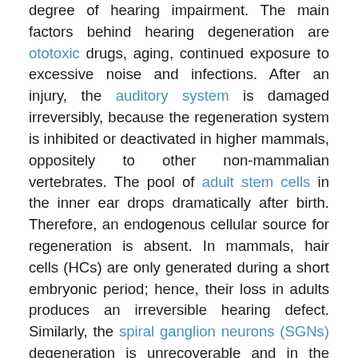degree of hearing impairment. The main factors behind hearing degeneration are ototoxic drugs, aging, continued exposure to excessive noise and infections. After an injury, the auditory system is damaged irreversibly, because the regeneration system is inhibited or deactivated in higher mammals, oppositely to other non-mammalian vertebrates. The pool of adult stem cells in the inner ear drops dramatically after birth. Therefore, an endogenous cellular source for regeneration is absent. In mammals, hair cells (HCs) are only generated during a short embryonic period; hence, their loss in adults produces an irreversible hearing defect. Similarly, the spiral ganglion neurons (SGNs) degeneration is unrecoverable and in the case of synaptic loss, recovery has been shown to be limited.
Because of the drastic reduction in the number of stem cells in the inner ear after the neonatal period, the